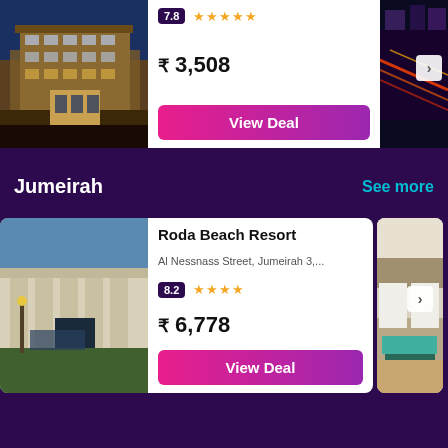[Figure (photo): Hotel building exterior photo at top left]
7.8 ★★★★★
₹ 3,508
View Deal
[Figure (photo): City night scene with light trails at top right]
Jumeirah
See more
[Figure (photo): Roda Beach Resort exterior photo]
Roda Beach Resort
Al Nessnass Street, Jumeirah 3,...
8.2 ★★★★
₹ 6,778
View Deal
[Figure (photo): Hotel room interior with beds at bottom right]